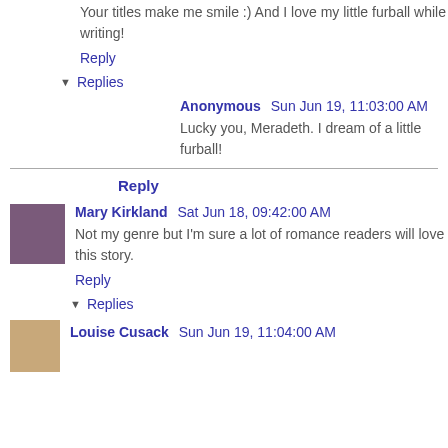Your titles make me smile :) And I love my little furball while writing!
Reply
Replies
Anonymous  Sun Jun 19, 11:03:00 AM
Lucky you, Meradeth. I dream of a little furball!
Reply
Mary Kirkland  Sat Jun 18, 09:42:00 AM
Not my genre but I'm sure a lot of romance readers will love this story.
Reply
Replies
Louise Cusack  Sun Jun 19, 11:04:00 AM